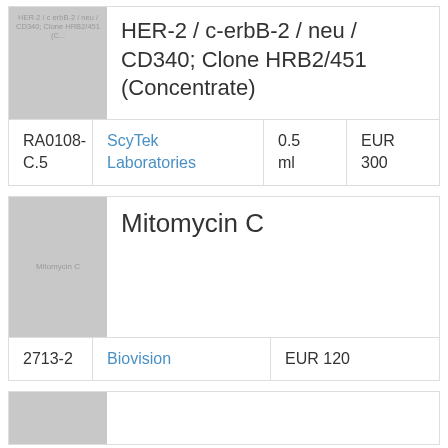[Figure (photo): Product image placeholder for HER-2/c-erbB-2/neu/CD340 Clone HRB2/451 antibody with label text]
HER-2 / c-erbB-2 / neu / CD340; Clone HRB2/451 (Concentrate)
| Catalog | Vendor | Size | Price |
| --- | --- | --- | --- |
| RA0108-C.5 | ScyTek Laboratories | 0.5 ml | EUR 300 |
[Figure (photo): Product image placeholder for Mitomycin C with label text]
Mitomycin C
| Catalog | Vendor | Price |
| --- | --- | --- |
| 2713-2 | Biovision | EUR 120 |
[Figure (photo): Product image placeholder for third product (partial)]